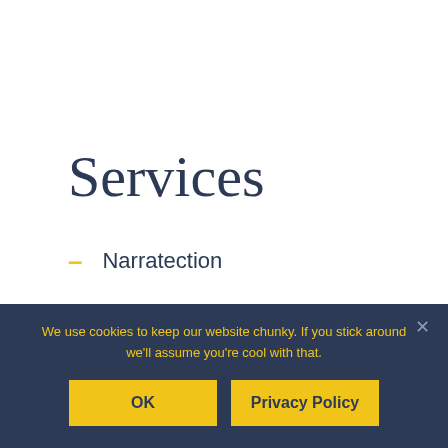Services
– Narratection
There's storytelling and then there's narratection. By using my laser-like attention to detail and investigative skills, I drill down deeper. To find the Fundamental
We use cookies to keep our website chunky. If you stick around we'll assume you're cool with that.
OK   Privacy Policy